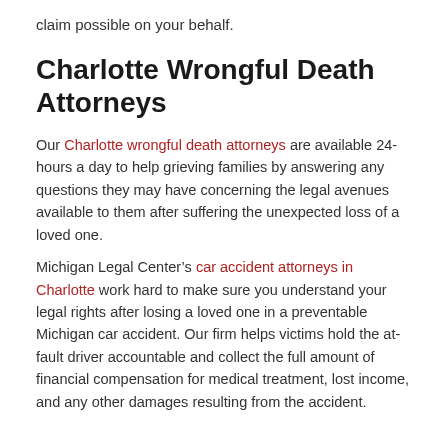claim possible on your behalf.
Charlotte Wrongful Death Attorneys
Our Charlotte wrongful death attorneys are available 24-hours a day to help grieving families by answering any questions they may have concerning the legal avenues available to them after suffering the unexpected loss of a loved one.
Michigan Legal Center’s car accident attorneys in Charlotte work hard to make sure you understand your legal rights after losing a loved one in a preventable Michigan car accident. Our firm helps victims hold the at-fault driver accountable and collect the full amount of financial compensation for medical treatment, lost income, and any other damages resulting from the accident.